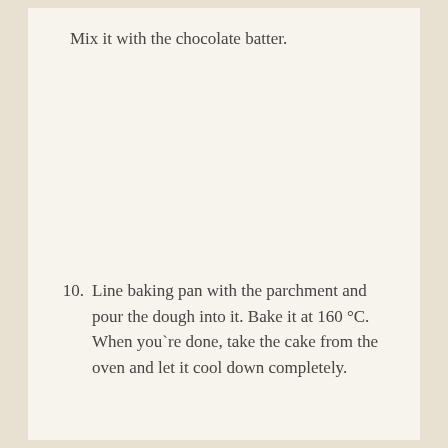Mix it with the chocolate batter.
10. Line baking pan with the parchment and pour the dough into it. Bake it at 160 °C. When you`re done, take the cake from the oven and let it cool down completely.